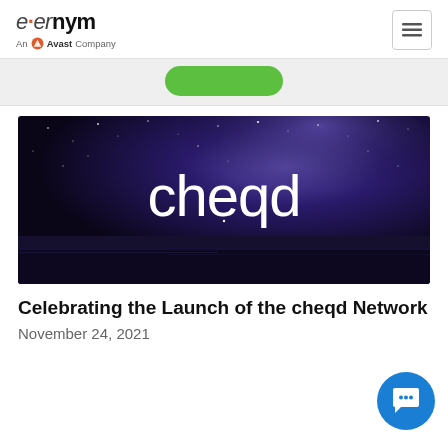evernym — An Avast Company
[Figure (logo): Green rounded rectangle button (partially visible)]
[Figure (photo): cheqd network logo on a night sky/Milky Way galaxy background over water]
Celebrating the Launch of the cheqd Network
November 24, 2021